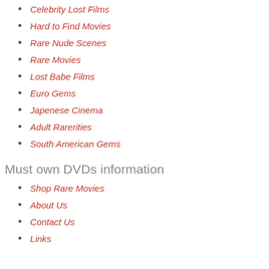Celebrity Lost Films
Hard to Find Movies
Rare Nude Scenes
Rare Movies
Lost Babe Films
Euro Gems
Japenese Cinema
Adult Rarerities
South American Gems
Must own DVDs information
Shop Rare Movies
About Us
Contact Us
Links